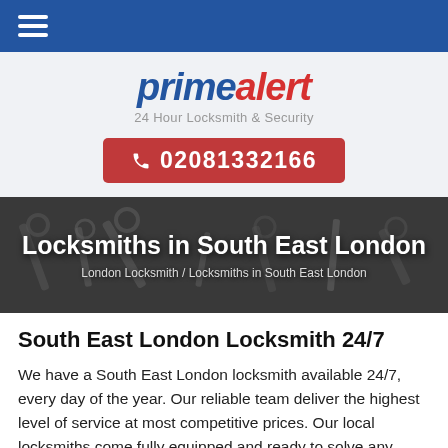≡ (hamburger menu)
[Figure (logo): Prime Alert logo with text 'primealert' in blue/red italic bold font, and tagline '24 Hour Locksmith & Security' in grey below]
02081332166
[Figure (photo): Black and white photo of keys on a wooden surface, with overlay text 'Locksmiths in South East London' as page title and breadcrumb 'London Locksmith / Locksmiths in South East London']
South East London Locksmith 24/7
We have a South East London locksmith available 24/7, every day of the year. Our reliable team deliver the highest level of service at most competitive prices. Our local locksmiths come fully equipped and ready to solve any